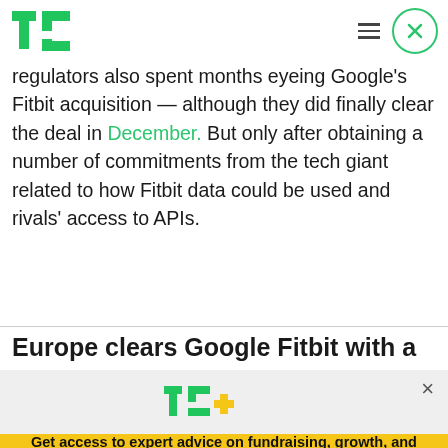TechCrunch logo, hamburger menu, close button
regulators also spent months eyeing Google's Fitbit acquisition — although they did finally clear the deal in December. But only after obtaining a number of commitments from the tech giant related to how Fitbit data could be used and rivals' access to APIs.
Europe clears Google Fitbit with a
[Figure (logo): TechCrunch+ logo with green TC and yellow plus sign]
Get access to expert advice on fundraising, growth, and management for your startup.
EXPLORE NOW